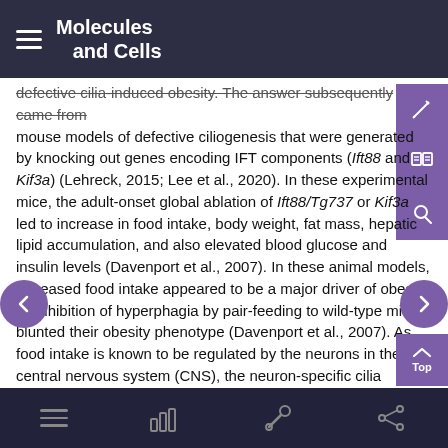Molecules and Cells
defective cilia-induced obesity. The answer subsequently came from mouse models of defective ciliogenesis that were generated by knocking out genes encoding IFT components (Ift88 and Kif3a) (Lehreck, 2015; Lee et al., 2020). In these experimental mice, the adult-onset global ablation of Ift88/Tg737 or Kif3a led to increase in food intake, body weight, fat mass, hepatic lipid accumulation, and also elevated blood glucose and insulin levels (Davenport et al., 2007). In these animal models, increased food intake appeared to be a major driver of obesity as inhibition of hyperphagia by pair-feeding to wild-type mice blunted their obesity phenotype (Davenport et al., 2007). As food intake is known to be regulated by the neurons in the central nervous system (CNS), the neuron-specific cilia dysgenesis model was generated to reproduce the hyperphagic obesity phenotype (Davenport et al., 2007). Based on these data, it has been proposed that abnormal cilia formation in CNS neurons may lead to obesity development.
navigation icons: menu, chart, tool, share